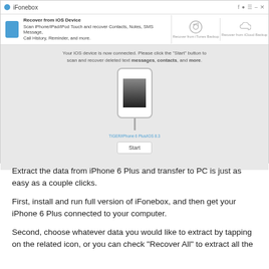[Figure (screenshot): iFonebox application window showing 'Recover from iOS Device' tab selected, with an iPhone graphic connected via cable, device label 'TIGER/iPhone 6 Plus/iOS 8.3', and a Start button.]
Extract the data from iPhone 6 Plus and transfer to PC is just as easy as a couple clicks.
First, install and run full version of iFonebox, and then get your iPhone 6 Plus connected to your computer.
Second, choose whatever data you would like to extract by tapping on the related icon, or you can check "Recover All" to extract all the